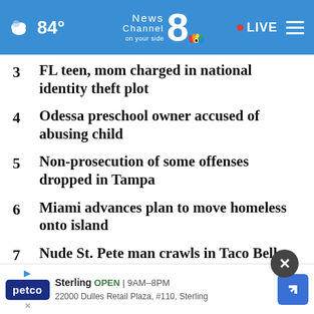84° News Channel 8 on your side • LIVE
3  FL teen, mom charged in national identity theft plot
4  Odessa preschool owner accused of abusing child
5  Non-prosecution of some offenses dropped in Tampa
6  Miami advances plan to move homeless onto island
7  Nude St. Pete man crawls in Taco Bell window: police
8  J... r...
Sterling  OPEN | 9AM–8PM  22000 Dulles Retail Plaza, #110, Sterling